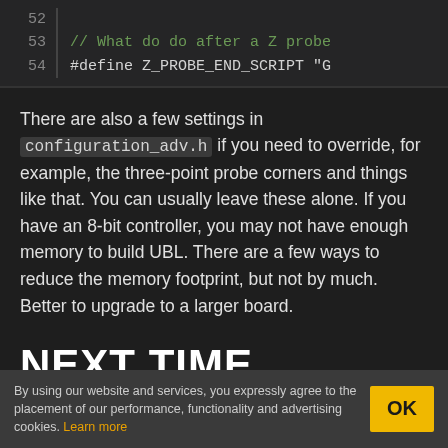[Figure (screenshot): Code editor screenshot showing lines 52-54 with a comment about Z probe and a #define directive for Z_PROBE_END_SCRIPT]
There are also a few settings in configuration_adv.h if you need to override, for example, the three-point probe corners and things like that. You can usually leave these alone. If you have an 8-bit controller, you may not have enough memory to build UBL. There are a few ways to reduce the memory footprint, but not by much. Better to upgrade to a larger board.
NEXT TIME
By using our website and services, you expressly agree to the placement of our performance, functionality and advertising cookies. Learn more